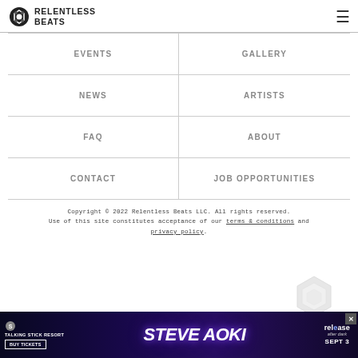Relentless Beats
EVENTS
GALLERY
NEWS
ARTISTS
FAQ
ABOUT
CONTACT
JOB OPPORTUNITIES
Copyright © 2022 Relentless Beats LLC. All rights reserved. Use of this site constitutes acceptance of our terms & conditions and privacy policy.
[Figure (screenshot): Advertisement banner for Talking Stick Resort featuring Steve Aoki, Release after dark event, Sept 3, with Buy Tickets button]